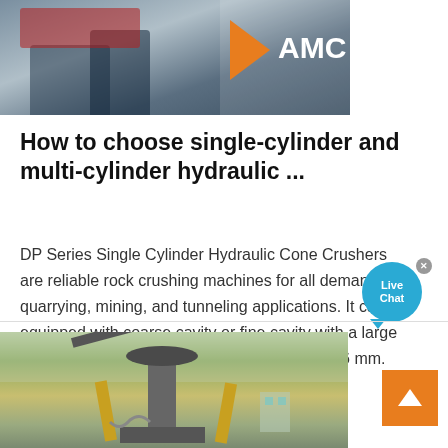[Figure (photo): Workers and machinery with AMC logo visible on the right side, industrial setting]
How to choose single-cylinder and multi-cylinder hydraulic ...
DP Series Single Cylinder Hydraulic Cone Crushers are reliable rock crushing machines for all demanding quarrying, mining, and tunneling applications. It can be equipped with coarse cavity or fine cavity with a large discharge opening adjustment from 6mm to 76 mm.
[Figure (photo): Hydraulic cone crusher machine outdoors in a field, with yellow supports and industrial structure visible]